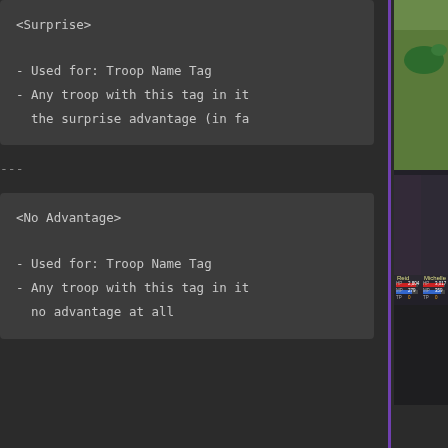[Figure (screenshot): RPG game battle screen showing two characters Reid and Michelle with HP/MP/TP stats, fighting enemies (white creature and green snake) on a grassy background]
<Surprise>
- Used for: Troop Name Tag
- Any troop with this tag in it
  the surprise advantage (in fa
---
<No Advantage>
- Used for: Troop Name Tag
- Any troop with this tag in it
  no advantage at all